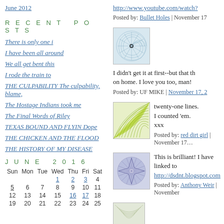June 2012
http://www.youtube.com/watch?...
Posted by: Bullet Holes | November 17...
RECENT POSTS
There is only one i
I have been all around
We all get bent this
I rode the train to
THE CULPABILITY The culpability, blame,
The Hostage Indians took me
The Final Words of Riley
TEXAS BOUND AND FLYIN Dope
THE CHICKEN AND THE FLOOD
THE HISTORY OF MY DISEASE
JUNE 2016
| Sun | Mon | Tue | Wed | Thu | Fri | Sat |
| --- | --- | --- | --- | --- | --- | --- |
|  |  |  | 1 | 2 | 3 | 4 |
| 5 | 6 | 7 | 8 | 9 | 10 | 11 |
| 12 | 13 | 14 | 15 | 16 | 17 | 18 |
| 19 | 20 | 21 | 22 | 23 | 24 | 25 |
[Figure (illustration): Geometric spiral illustration with blue/gray colors]
I didn't get it at first--but that th... on home. I love you too, man!
Posted by: UF MIKE | November 17, 2...
[Figure (illustration): Geometric leaf/fan illustration with yellow-green colors]
twenty-one lines.
I counted 'em.
xxx
Posted by: red dirt girl | November 17...
[Figure (illustration): Geometric star illustration with blue/purple colors]
This is brilliant! I have linked to...
http://dsdnt.blogspot.com
Posted by: Anthony Weir | November...
[Figure (illustration): Geometric illustration, partially visible at bottom]